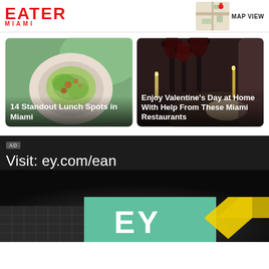EATER MIAMI
MAP VIEW
[Figure (photo): Overhead shot of a bowl of colorful grain salad with vegetables on a green background]
14 Standout Lunch Spots in Miami
[Figure (photo): Dark moody photo of wine glasses and candles at a restaurant table]
Enjoy Valentine's Day at Home With Help From These Miami Restaurants
[Figure (photo): Advertisement banner: Visit: ey.com/ean with EY building sign in teal/green]
AD
Visit: ey.com/ean